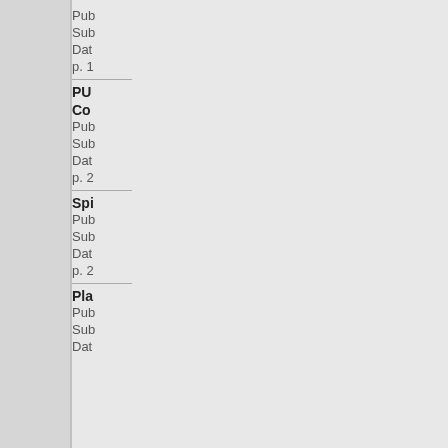Pub
Sub
Dat
p. 1
PU
Co
Pub
Sub
Dat
p. 2
Spi
Pub
Sub
Dat
p. 2
Pla
Pub
Sub
Dat